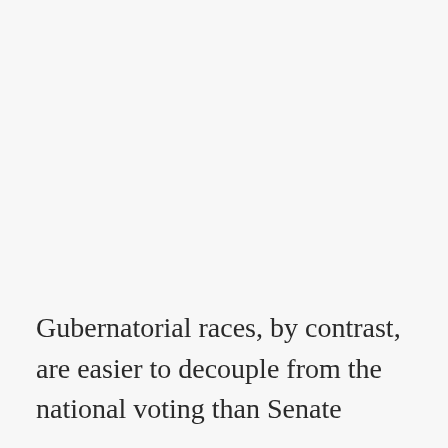Gubernatorial races, by contrast, are easier to decouple from the national voting than Senate